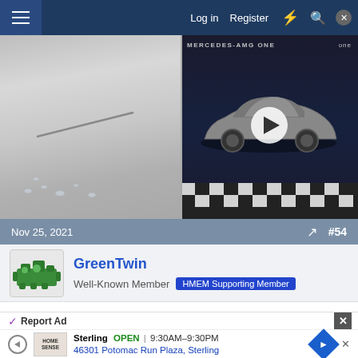Log in   Register
[Figure (screenshot): Two-panel image: left panel shows a close-up of a surface with water droplets and a thin rod/stylus; right panel shows a Mercedes-AMG ONE sports car on a checkered floor with a play button overlay]
Nov 25, 2021  #54
GreenTwin
Well-Known Member  HMEM Supporting Member
If I were going to make one of my dad's engines today, I would probably build it more like a mini No.02 Cretors
Report Ad
Sterling  OPEN  9:30AM–9:30PM
46301 Potomac Run Plaza, Sterling